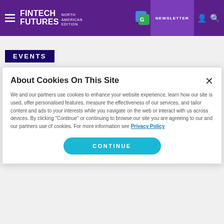FINTECH FUTURES NORTH AMERICAN EDITION | NEWSLETTER
EVENTS
About Cookies On This Site
We and our partners use cookies to enhance your website experience, learn how our site is used, offer personalised features, measure the effectiveness of our services, and tailor content and ads to your interests while you navigate on the web or interact with us across devices. By clicking "Continue" or continuing to browse our site you are agreeing to our and our partners use of cookies. For more information see Privacy Policy
CONTINUE